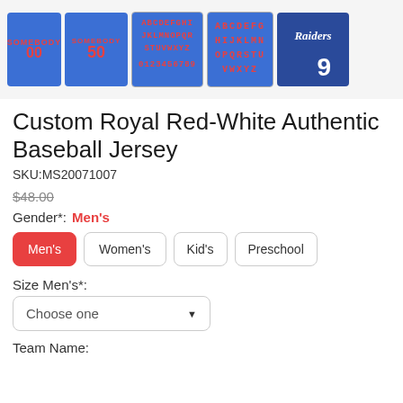[Figure (photo): Product images showing custom royal blue baseball jerseys with red lettering, alphabet font samples on blue background, and Raiders-style jersey detail]
Custom Royal Red-White Authentic Baseball Jersey
SKU:MS20071007
$48.00 (strikethrough price)
Gender*: Men's
Men's (selected)
Women's
Kid's
Preschool
Size Men's*:
Choose one
Team Name: